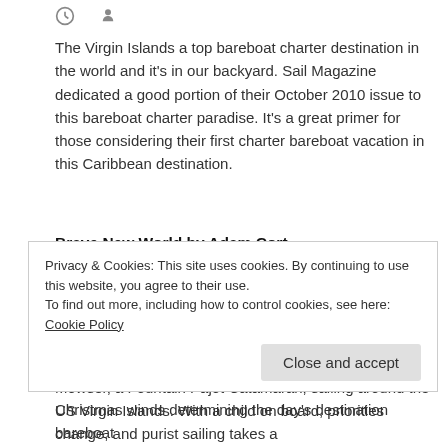[Figure (other): Small icons: a circular icon and a person/profile icon in the page header area]
The Virgin Islands a top bareboat charter destination in the world and it's in our backyard. Sail Magazine dedicated a good portion of their October 2010 issue to this bareboat charter paradise. It's a great primer for those considering their first charter bareboat vacation in this Caribbean destination.
Brave New World by Adam Cort
Kids Mean a Different Kind of Chartering
Adam and his wife return to the BVIs this time with his 5 year old daughter in tow to discover the joys of beachcombing, snorkeling, and trampoline session on Mowser, a Fountain Pajot Catamaran, sailing around the US Virgin Islands. With a child on board, priorities change, and purist sailing takes a
Privacy & Cookies: This site uses cookies. By continuing to use this website, you agree to their use.
To find out more, including how to control cookies, see here: Cookie Policy
Christmas winds determining the day's destination bareboat